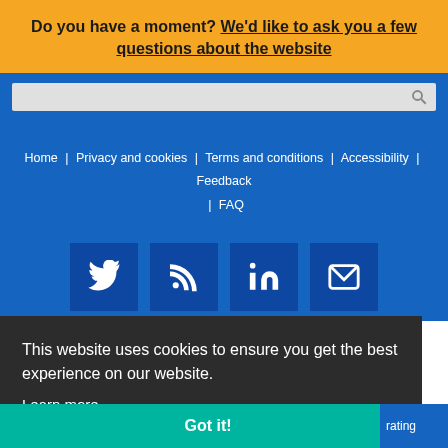Do you have a moment? We'd like to ask you a few questions about the website
[Figure (screenshot): Search bar with grey background and magnifying glass icon on blue background]
Home | Privacy and cookies | Terms and conditions | Accessibility | Feedback | FAQ
[Figure (infographic): Social media icons row: Twitter, RSS feed, LinkedIn, Email on dark blue square buttons on blue background]
This website uses cookies to ensure you get the best experience on our website.
Learn more
Got it!
rating